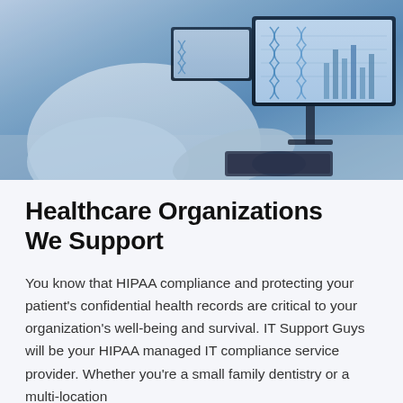[Figure (photo): A lab researcher in a white coat sitting at a computer workstation with multiple monitors displaying DNA/genetic data charts and diagrams, wearing blue gloves, working in a laboratory environment with blue-tinted lighting.]
Healthcare Organizations We Support
You know that HIPAA compliance and protecting your patient's confidential health records are critical to your organization's well-being and survival. IT Support Guys will be your HIPAA managed IT compliance service provider. Whether you're a small family dentistry or a multi-location